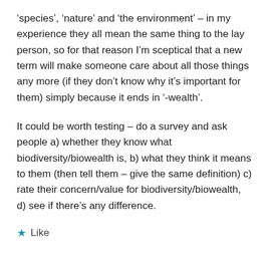'species', 'nature' and 'the environment' – in my experience they all mean the same thing to the lay person, so for that reason I'm sceptical that a new term will make someone care about all those things any more (if they don't know why it's important for them) simply because it ends in '-wealth'.
It could be worth testing – do a survey and ask people a) whether they know what biodiversity/biowealth is, b) what they think it means to them (then tell them – give the same definition) c) rate their concern/value for biodiversity/biowealth, d) see if there's any difference.
Like